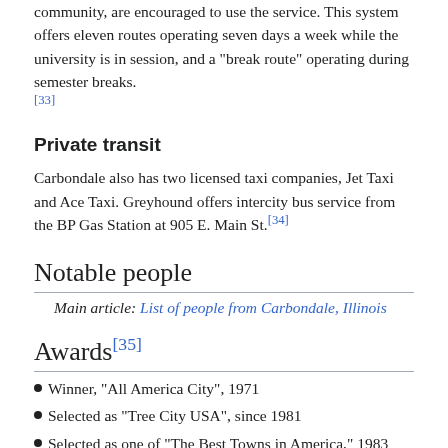community, are encouraged to use the service. This system offers eleven routes operating seven days a week while the university is in session, and a "break route" operating during semester breaks. [33]
Private transit
Carbondale also has two licensed taxi companies, Jet Taxi and Ace Taxi. Greyhound offers intercity bus service from the BP Gas Station at 905 E. Main St.[34]
Notable people
Main article: List of people from Carbondale, Illinois
Awards[35]
Winner, "All America City", 1971
Selected as "Tree City USA", since 1981
Selected as one of "The Best Towns in America," 1983
Winner, "GFOA Distinguished Budget Presentation Award", since 1986
Selected as "Best Small City in Illinois", 1990, 1997